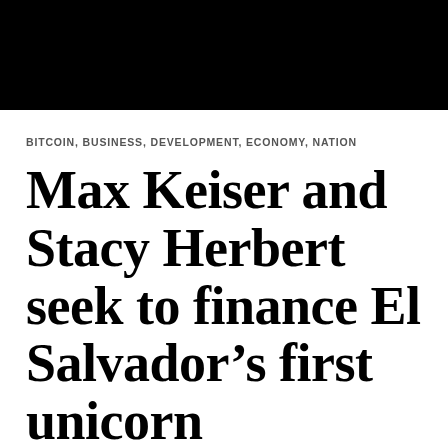[Figure (photo): Black bar image at top of page, decorative header photo area rendered as solid black rectangle]
BITCOIN, BUSINESS, DEVELOPMENT, ECONOMY, NATION
Max Keiser and Stacy Herbert seek to finance El Salvador’s first unicorn company
In mid-February of this year, US bitcoin entrepreneurs